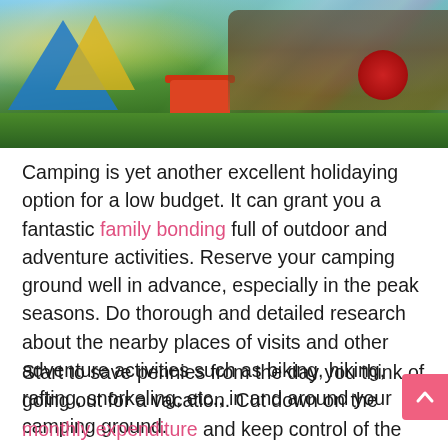[Figure (photo): Photo of a group of people camping outdoors near a lake, with a blue tent, a red cooler, and a red barbecue grill on grass]
Camping is yet another excellent holidaying option for a low budget. It can grant you a fantastic family bonding full of outdoor and adventure activities. Reserve your camping ground well in advance, especially in the peak seasons. Do thorough and detailed research about the nearby places of visits and other adventure activities such as biking, hiking, rafting, snorkeling, etc., in and around your camping ground.
Start to save pennies from the day you think of going out for a vacation. Cut down on the monthly expenditure and keep control of the extravagant